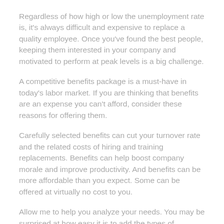Regardless of how high or low the unemployment rate is, it's always difficult and expensive to replace a quality employee. Once you've found the best people, keeping them interested in your company and motivated to perform at peak levels is a big challenge.
A competitive benefits package is a must-have in today's labor market. If you are thinking that benefits are an expense you can't afford, consider these reasons for offering them.
Carefully selected benefits can cut your turnover rate and the related costs of hiring and training replacements. Benefits can help boost company morale and improve productivity. And benefits can be more affordable than you expect. Some can be offered at virtually no cost to you.
Allow me to help you analyze your needs. You may be surprised at how easy it is to add the types of protection and planning appropriate to your business without spending a fortune.